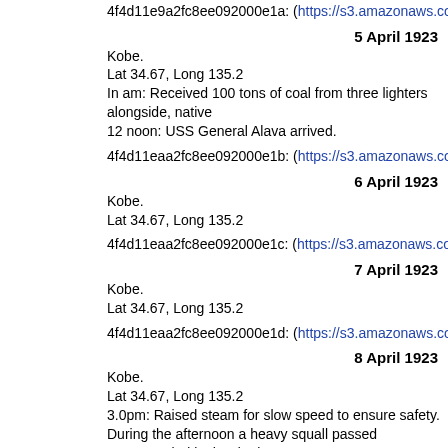4f4d11e9a2fc8ee092000e1a: (https://s3.amazonaws.com:443/oldwea
5 April 1923
Kobe.
Lat 34.67, Long 135.2
In am: Received 100 tons of coal from three lighters alongside, native
12 noon: USS General Alava arrived.
4f4d11eaa2fc8ee092000e1b: (https://s3.amazonaws.com:443/oldwea
6 April 1923
Kobe.
Lat 34.67, Long 135.2
4f4d11eaa2fc8ee092000e1c: (https://s3.amazonaws.com:443/oldwea
7 April 1923
Kobe.
Lat 34.67, Long 135.2
4f4d11eaa2fc8ee092000e1d: (https://s3.amazonaws.com:443/oldwea
8 April 1923
Kobe.
Lat 34.67, Long 135.2
3.0pm: Raised steam for slow speed to ensure safety.
During the afternoon a heavy squall passed accompanied by hard rain
minutes. After this the wind dropped quickly.
4f4d11eba2fc8ee092000e1e: (https://s3.amazonaws.com:443/oldwea